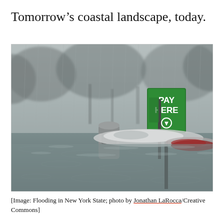Tomorrow’s coastal landscape, today.
[Figure (photo): Flooded parking area or street in New York State during heavy rain. Cars are submerged up to their roofs in floodwater. A green 'PAY HERE' parking sign with a downward arrow is visible above the water. A parking meter and a trash/recycling bin are also visible rising from the floodwater. Background shows trees and hazy, stormy atmosphere.]
[Image: Flooding in New York State; photo by Jonathan LaRocca/Creative Commons]